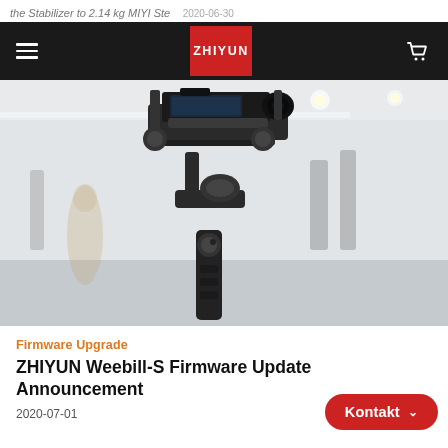the Stabilizer to 2.14 kg MIYI Ste  2020-06-30
[Figure (logo): ZHIYUN logo in white text on red background, centered in dark navigation bar]
[Figure (photo): A Zhiyun Weebill-S camera gimbal stabilizer holding a mirrorless camera with cage, photographed in a bright showroom with blurred gimbals visible in background]
Firmware Upgrade
ZHIYUN Weebill-S Firmware Update Announcement
2020-07-01